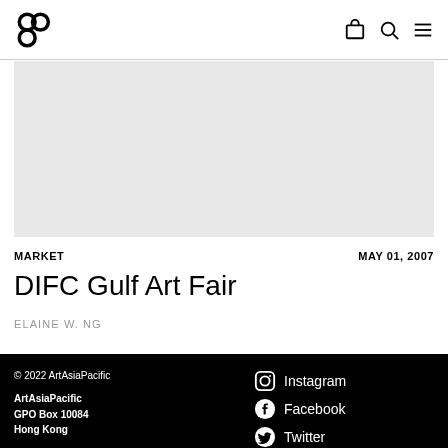ArtAsiaPacific logo and navigation icons
[Figure (photo): Gray placeholder image for article]
MARKET   MAY 01, 2007
DIFC Gulf Art Fair
ELAINE W. NG
© 2022 ArtAsiaPacific
ArtAsiaPacific
GPO Box 10084
Hong Kong
info@aapmag.com
About Us
Advertise
Jobs and Internships
Instagram
Facebook
Twitter
Legal
Privacy